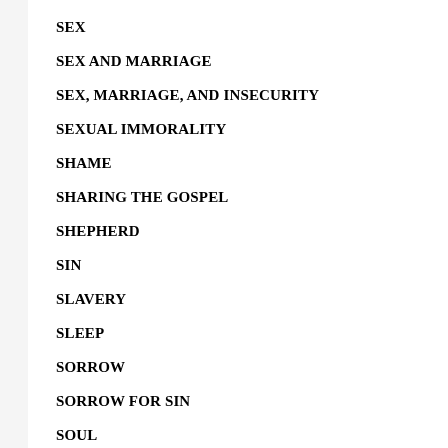SEX
SEX AND MARRIAGE
SEX, MARRIAGE, AND INSECURITY
SEXUAL IMMORALITY
SHAME
SHARING THE GOSPEL
SHEPHERD
SIN
SLAVERY
SLEEP
SORROW
SORROW FOR SIN
SOUL
SOVEREIGNTY
SPIRIT